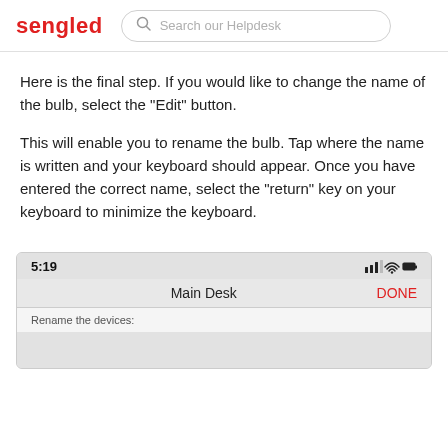sengled — Search our Helpdesk
Here is the final step. If you would like to change the name of the bulb, select the "Edit" button.
This will enable you to rename the bulb. Tap where the name is written and your keyboard should appear. Once you have entered the correct name, select the "return" key on your keyboard to minimize the keyboard.
[Figure (screenshot): Mobile app screenshot showing status bar with time 5:19, signal and battery icons, navigation bar with 'Main Desk' title and red 'DONE' button, and 'Rename the devices:' label below.]